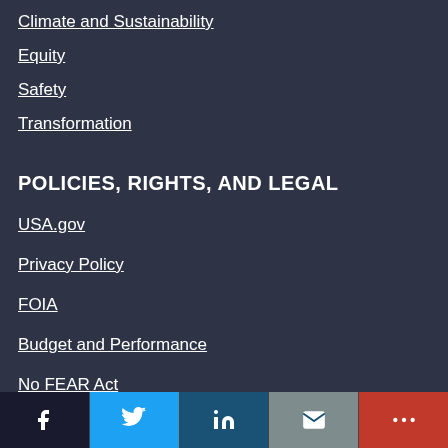Climate and Sustainability
Equity
Safety
Transformation
POLICIES, RIGHTS, AND LEGAL
USA.gov
Privacy Policy
FOIA
Budget and Performance
No FEAR Act
[Figure (infographic): Social media sharing bar with Facebook, Twitter, LinkedIn, Email, and More buttons]